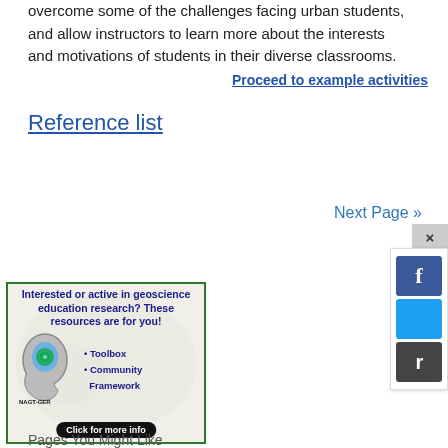overcome some of the challenges facing urban students, and allow instructors to learn more about the interests and motivations of students in their diverse classrooms.
Proceed to example activities
Reference list
Next Page »
[Figure (infographic): NAGT-GER advertisement. Text: 'Interested or active in geoscience education research? These resources are for you!' with bullet points: Toolbox, Community Framework. Features a head/brain icon with a globe. Click for more info button at bottom.]
Pages You Might Like